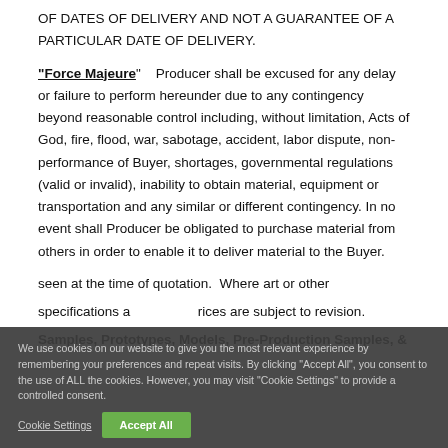OF DATES OF DELIVERY AND NOT A GUARANTEE OF A PARTICULAR DATE OF DELIVERY.
"Force Majeure" Producer shall be excused for any delay or failure to perform hereunder due to any contingency beyond reasonable control including, without limitation, Acts of God, fire, flood, war, sabotage, accident, labor dispute, non-performance of Buyer, shortages, governmental regulations (valid or invalid), inability to obtain material, equipment or transportation and any similar or different contingency. In no event shall Producer be obligated to purchase material from others in order to enable it to deliver material to the Buyer.
However, Producer, prices are subject to revision.
seen at the time of quotation. Where art or other specifications are, prices are subject to revision.
Samples, Prototypes, Models, Pre-Production Samples, &